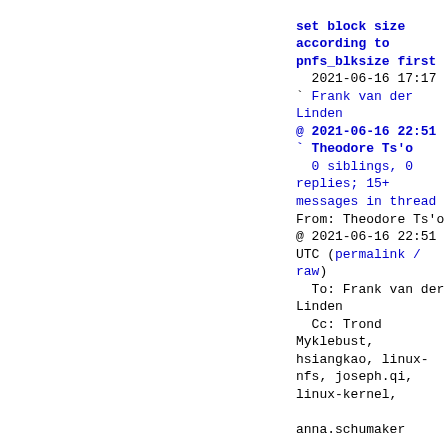set block size according to pnfs_blksize first
  2021-06-16 17:17
` Frank van der Linden
@ 2021-06-16 22:51
` Theodore Ts'o
  0 siblings, 0 replies; 15+ messages in thread
From: Theodore Ts'o @ 2021-06-16 22:51 UTC (permalink / raw)
  To: Frank van der Linden
  Cc: Trond Myklebust, hsiangkao, linux-nfs, joseph.qi, linux-kernel,

anna.schumaker

On Wed, Jun 16, 2021 at 05:17:08PM +0000, Frank van der Linden wrote:
>